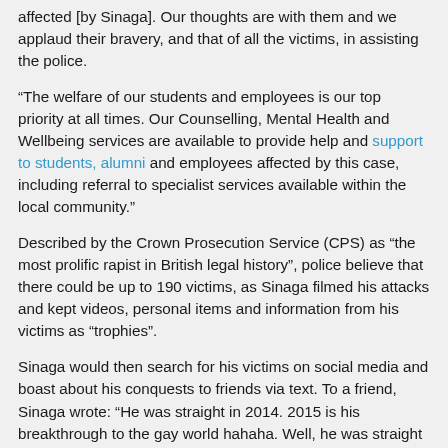affected [by Sinaga]. Our thoughts are with them and we applaud their bravery, and that of all the victims, in assisting the police.
“The welfare of our students and employees is our top priority at all times. Our Counselling, Mental Health and Wellbeing services are available to provide help and support to students, alumni and employees affected by this case, including referral to specialist services available within the local community.”
Described by the Crown Prosecution Service (CPS) as “the most prolific rapist in British legal history”, police believe that there could be up to 190 victims, as Sinaga filmed his attacks and kept videos, personal items and information from his victims as “trophies”.
Sinaga would then search for his victims on social media and boast about his conquests to friends via text. To a friend, Sinaga wrote: “He was straight in 2014. 2015 is his breakthrough to the gay world hahaha. Well, he was straight until we woke up naked”.
Most of Sinaga’s victims were young men in their late teens or early twenties who had been out drinking, often in nearby